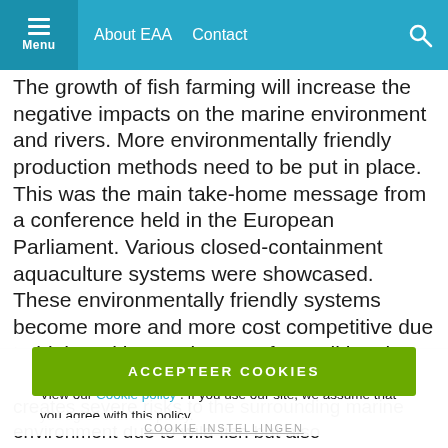Menu  About EAA  Contact
The growth of fish farming will increase the negative impacts on the marine environment and rivers. More environmentally friendly production methods need to be put in place. This was the main take-home message from a conference held in the European Parliament. Various closed-containment aquaculture systems were showcased. These environmentally friendly systems become more and more cost competitive due to high and increasing cost for traditional open net farms
In order to offer the best user experience we use cookies. View our Cookie policy . If you use our site, we assume that you agree with this policy.
COOKIE INSTELLINGEN
ACCEPTEER COOKIES
Conventional aquaculture in pens or net cages creates severe risks to the surrounding marine environment due to wild fish but also